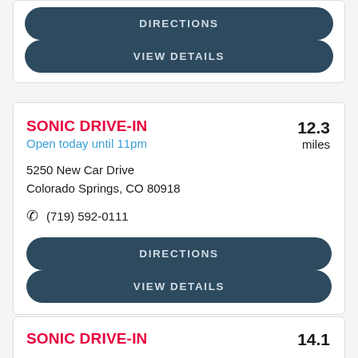DIRECTIONS
VIEW DETAILS
SONIC DRIVE-IN
Open today until 11pm
12.3 miles
5250 New Car Drive
Colorado Springs, CO 80918
(719) 592-0111
DIRECTIONS
VIEW DETAILS
SONIC DRIVE-IN
14.1